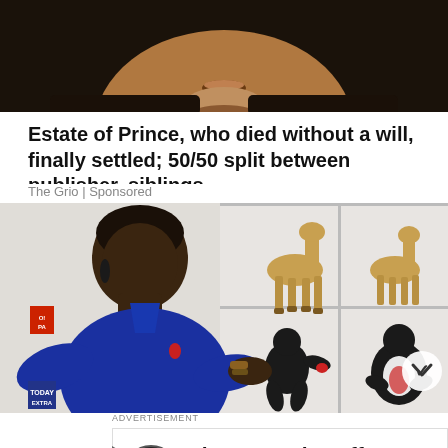[Figure (photo): Cropped photo of a person's face and lower chin area, dark background, appears to be the musician Prince]
Estate of Prince, who died without a will, finally settled; 50/50 split between publisher, siblings
The Grio | Sponsored
[Figure (photo): Video thumbnail showing a man in a blue polo shirt seated, with decorative shelves in background containing animal figurines and abstract human sculptures]
ADVERTISEMENT
[Figure (other): Advertisement for Firestone Tire Offer - Virginia Tire & Auto of Ashbur... with Firestone logo and navigation arrow icon]